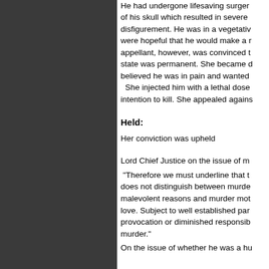He had undergone lifesaving surgery of his skull which resulted in severe disfigurement. He was in a vegetative state; doctors were hopeful that he would make a recovery. The appellant, however, was convinced that his vegetative state was permanent. She became distressed as she believed he was in pain and wanted to end his suffering. She injected him with a lethal dose... intention to kill. She appealed against her conviction.
Held:
Her conviction was upheld
Lord Chief Justice on the issue of m...
“Therefore we must underline that the law does not distinguish between murder done for malevolent reasons and murder motivated by love. Subject to well established partial defences provocation or diminished responsibility, it is murder."
On the issue of whether he was a hu...